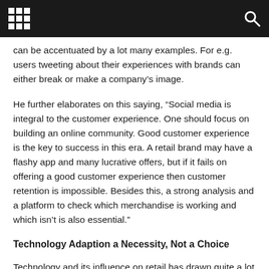[navigation bar with grid icon and search icon]
can be accentuated by a lot many examples. For e.g. users tweeting about their experiences with brands can either break or make a company’s image.
He further elaborates on this saying, “Social media is integral to the customer experience. One should focus on building an online community. Good customer experience is the key to success in this era. A retail brand may have a flashy app and many lucrative offers, but if it fails on offering a good customer experience then customer retention is impossible. Besides this, a strong analysis and a platform to check which merchandise is working and which isn’t is also essential.”
Technology Adaption a Necessity, Not a Choice
Technology and its influence on retail has drawn quite a lot of